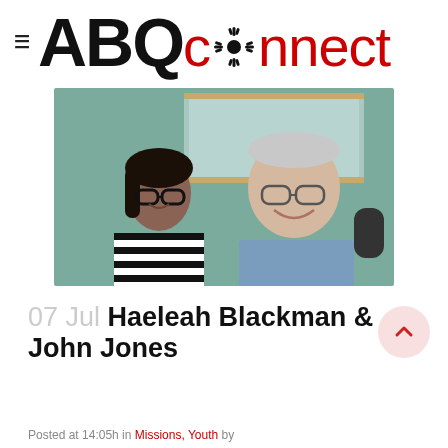≡ ABQ connect
[Figure (photo): Two people sitting together in a radio studio smiling at the camera: a young woman on the left wearing a black and white striped shirt and glasses, and an older man on the right wearing a blue button-up shirt, with studio equipment and a window visible in the background.]
07 Jul Haeleah Blackman & John Jones
Posted at 14:05h in Missions, Youth by